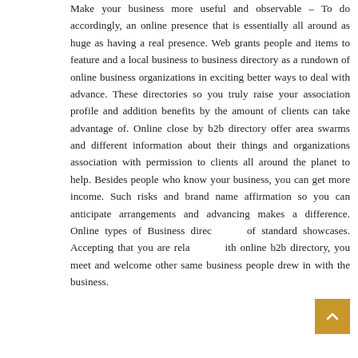Make your business more useful and observable – To do accordingly, an online presence that is essentially all around as huge as having a real presence. Web grants people and items to feature and a local business to business directory as a rundown of online business organizations in exciting better ways to deal with advance. These directories so you truly raise your association profile and addition benefits by the amount of clients can take advantage of. Online close by b2b directory offer area swarms and different information about their things and organizations association with permission to clients all around the planet to help. Besides people who know your business, you can get more income. Such risks and brand name affirmation so you can anticipate arrangements and advancing makes a difference. Online types of Business directory of standard showcases. Accepting that you are related with online b2b directory, you meet and welcome other same business people drew in with the business.